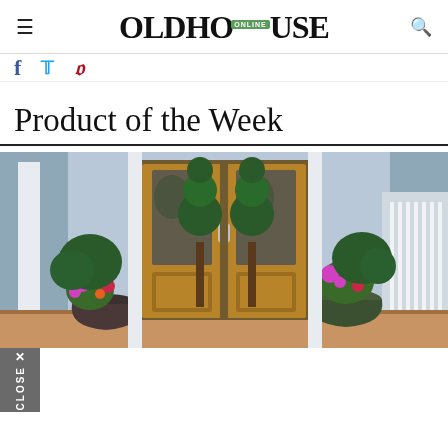OLDHOUSE ONLINE
[Figure (other): Facebook, Twitter, and Pinterest social share icons]
Product of the Week
[Figure (photo): Exterior photo of a house entrance featuring a pair of wooden double doors with glass panels, flanked by large ornamental flower pots with colorful blooms and topiary plants. The porch has a terracotta-toned floor and white siding visible on both sides.]
[Figure (other): Gray 'CLOSE X' button overlay in bottom-left corner]